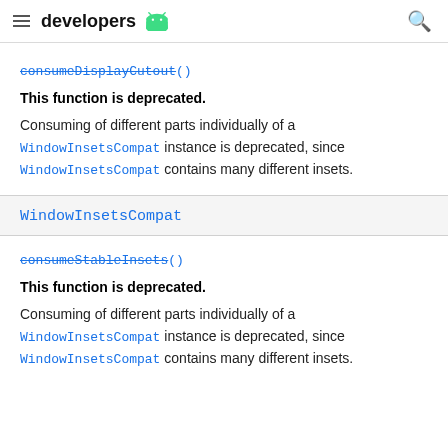developers
consumeDisplayCutout()
This function is deprecated.
Consuming of different parts individually of a WindowInsetsCompat instance is deprecated, since WindowInsetsCompat contains many different insets.
WindowInsetsCompat
consumeStableInsets()
This function is deprecated.
Consuming of different parts individually of a WindowInsetsCompat instance is deprecated, since WindowInsetsCompat contains many different insets.